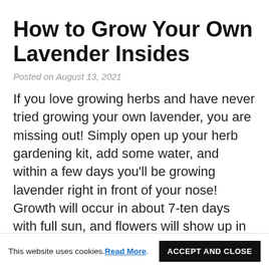How to Grow Your Own Lavender Insides
Posted on August 13, 2021
If you love growing herbs and have never tried growing your own lavender, you are missing out! Simply open up your herb gardening kit, add some water, and within a few days you'll be growing lavender right in front of your nose! Growth will occur in about 7-ten days with full sun, and flowers will show up in
This website uses cookies. Read More. ACCEPT AND CLOSE